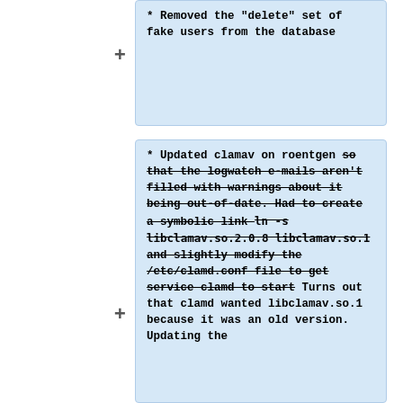* Removed the "delete" set of fake users from the database
* Updated clamav on roentgen <del>so that the logwatch e-mails aren't filled with warnings about it being out-of-date. Had to create a symbolic link <code>ln -s libclamav.so.2.0.8 libclamav.so.1</code> and slightly modify the /etc/clamd.conf file to get service clamd to start</del> Turns out that clamd wanted libclamav.so.1 because it was an old version. Updating the